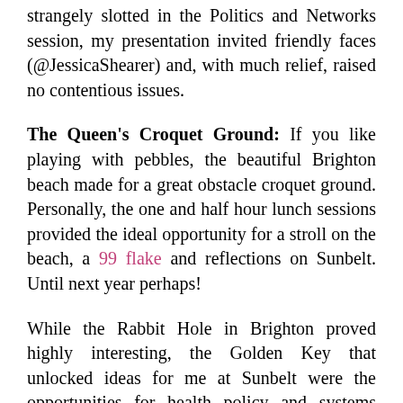strangely slotted in the Politics and Networks session, my presentation invited friendly faces (@JessicaShearer) and, with much relief, raised no contentious issues.
The Queen's Croquet Ground: If you like playing with pebbles, the beautiful Brighton beach made for a great obstacle croquet ground. Personally, the one and half hour lunch sessions provided the ideal opportunity for a stroll on the beach, a 99 flake and reflections on Sunbelt. Until next year perhaps!
While the Rabbit Hole in Brighton proved highly interesting, the Golden Key that unlocked ideas for me at Sunbelt were the opportunities for health policy and systems researchers to consider SNA more deliberately in order to